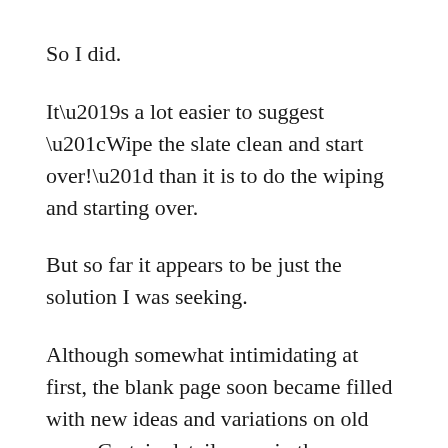So I did.
It’s a lot easier to suggest “Wipe the slate clean and start over!” than it is to do the wiping and starting over.
But so far it appears to be just the solution I was seeking.
Although somewhat intimidating at first, the blank page soon became filled with new ideas and variations on old ones. Certain details remain the same, plus a few odds and ends, but for the most part, it’s become a much different journey to the original destination.
It was also surprising how easily the new